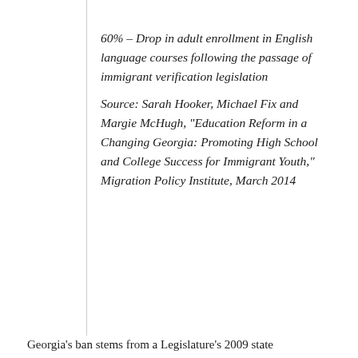60% – Drop in adult enrollment in English language courses following the passage of immigrant verification legislation
Source: Sarah Hooker, Michael Fix and Margie McHugh, “Education Reform in a Changing Georgia: Promoting High School and College Success for Immigrant Youth,” Migration Policy Institute, March 2014
Georgia’s ban stems from a Legislature’s 2009 state